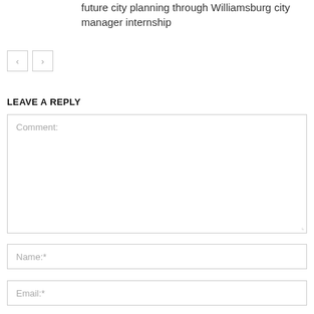future city planning through Williamsburg city manager internship
[Figure (other): Navigation buttons: left arrow and right arrow]
LEAVE A REPLY
Comment:
Name:*
Email:*